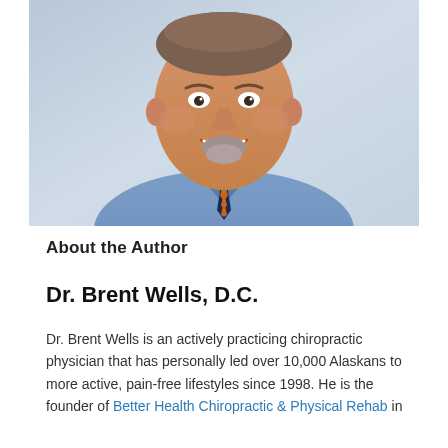[Figure (photo): Professional headshot of Dr. Brent Wells, D.C. — a middle-aged man with short salt-and-pepper hair and a goatee, wearing a blue collared shirt and a navy/orange striped tie, smiling against a light gray gradient background.]
About the Author
Dr. Brent Wells, D.C.
Dr. Brent Wells is an actively practicing chiropractic physician that has personally led over 10,000 Alaskans to more active, pain-free lifestyles since 1998. He is the founder of Better Health Chiropractic & Physical Rehab in